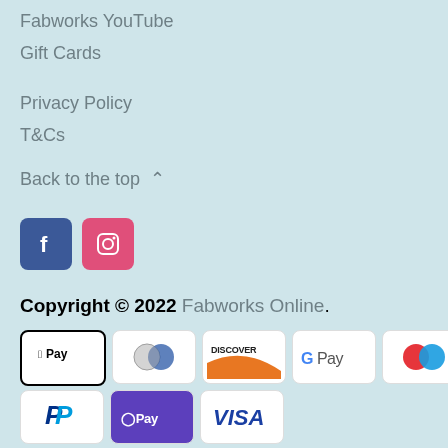Fabworks YouTube
Gift Cards
Privacy Policy
T&Cs
Back to the top ^
[Figure (other): Social media icons: Facebook (blue square with f) and Instagram (pink square with camera icon)]
Copyright © 2022 Fabworks Online.
[Figure (other): Payment method badges: Apple Pay, Diners Club, Discover, Google Pay, Visa Checkout (two circles red/blue), Mastercard (two circles red/orange), PayPal, Shop Pay, Visa]